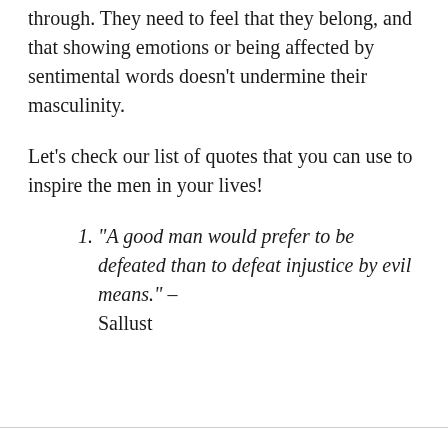through. They need to feel that they belong, and that showing emotions or being affected by sentimental words doesn't undermine their masculinity.
Let's check our list of quotes that you can use to inspire the men in your lives!
"A good man would prefer to be defeated than to defeat injustice by evil means." – Sallust